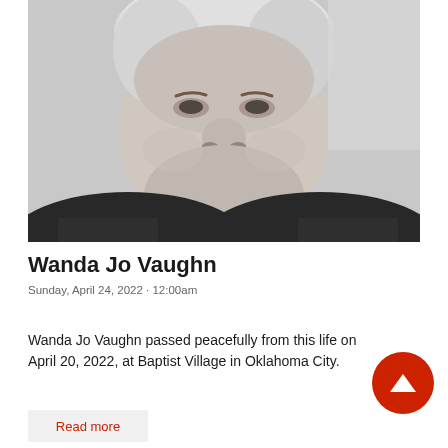[Figure (photo): Black and white portrait photograph of an elderly woman with short curly gray-white hair, looking slightly to the side, wearing a dark patterned top and a necklace.]
Wanda Jo Vaughn
Sunday, April 24, 2022 - 12:00am
Wanda Jo Vaughn passed peacefully from this life on April 20, 2022, at Baptist Village in Oklahoma City.
Read more